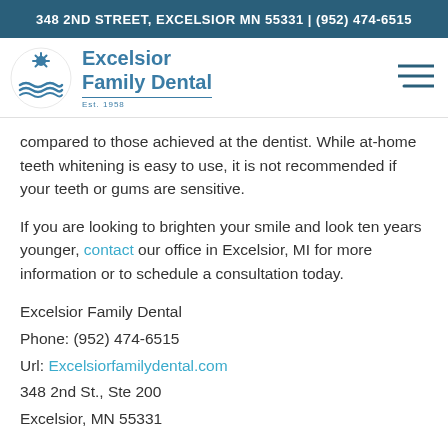348 2ND STREET, EXCELSIOR MN 55331 | (952) 474-6515
[Figure (logo): Excelsior Family Dental logo with sun/waves icon and text 'Excelsior Family Dental Est. 1958']
compared to those achieved at the dentist. While at-home teeth whitening is easy to use, it is not recommended if your teeth or gums are sensitive.
If you are looking to brighten your smile and look ten years younger, contact our office in Excelsior, MI for more information or to schedule a consultation today.
Excelsior Family Dental
Phone: (952) 474-6515
Url: Excelsiorfamilydental.com
348 2nd St., Ste 200
Excelsior, MN 55331